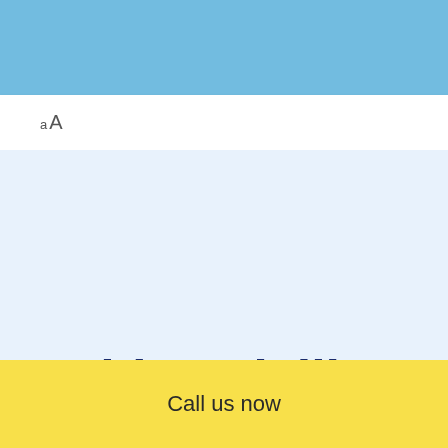[Figure (other): Light blue header banner at the top of the page]
aA
[Figure (other): Light blue content area background]
Gold medallist
Call us now